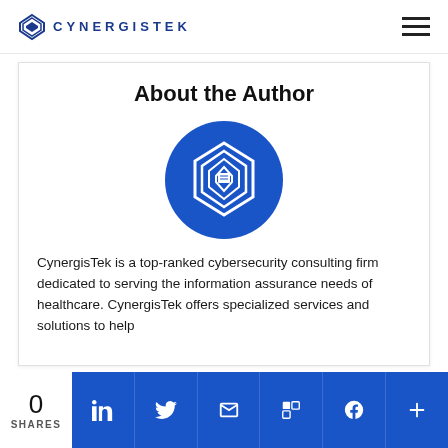CYNERGISTEK
About the Author
[Figure (logo): CynergisTek circular blue logo with layered diamond/shield icon in white on blue background]
CynergisTek is a top-ranked cybersecurity consulting firm dedicated to serving the information assurance needs of healthcare. CynergisTek offers specialized services and solutions to help
0 SHARES | LinkedIn | Twitter | Email | Flipboard | Facebook | More